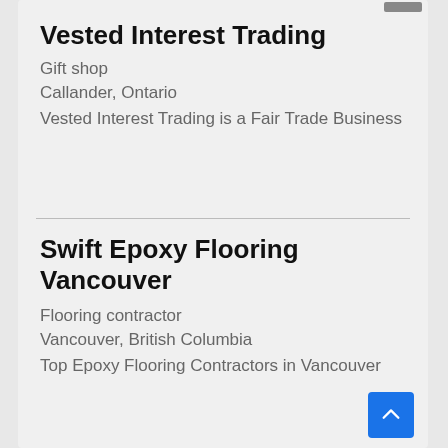Vested Interest Trading
Gift shop
Callander, Ontario
Vested Interest Trading is a Fair Trade Business
Swift Epoxy Flooring Vancouver
Flooring contractor
Vancouver, British Columbia
Top Epoxy Flooring Contractors in Vancouver